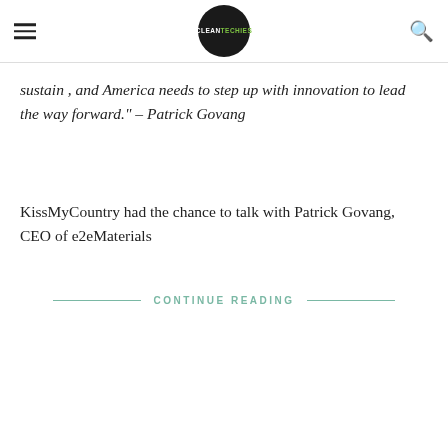CLEANTECHIES logo header with hamburger menu and search icon
sustain , and America needs to step up with innovation to lead the way forward." – Patrick Govang
KissMyCountry had the chance to talk with Patrick Govang, CEO of e2eMaterials
CONTINUE READING